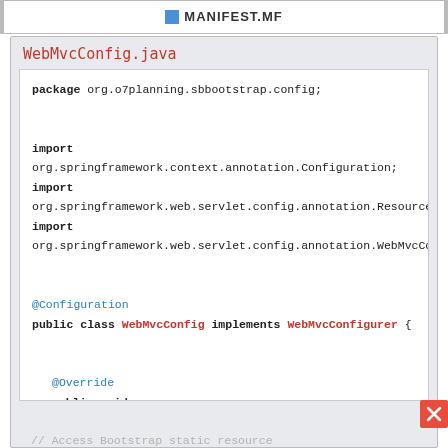MANIFEST.MF
WebMvcConfig.java
package org.o7planning.sbbootstrap.config;

import org.springframework.context.annotation.Configuration;
import org.springframework.web.servlet.config.annotation.ResourceHandlerR...
import org.springframework.web.servlet.config.annotation.WebMvcConfigurer...

@Configuration
public class WebMvcConfig implements WebMvcConfigurer {

    @Override
    public void addResourceHandlers(ResourceHandlerRegistry registry) {
        //

// Access Bootstrap static resource
        //



        //
// http://somedomain/SomeContextPath/jquery/jquery.min.css